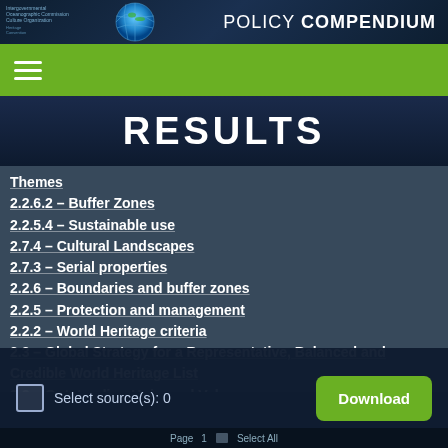UNESCO Policy Compendium
RESULTS
Themes
2.2.6.2 – Buffer Zones
2.2.5.4 – Sustainable use
2.7.4 – Cultural Landscapes
2.7.3 – Serial properties
2.2.6 – Boundaries and buffer zones
2.2.5 – Protection and management
2.2.2 – World Heritage criteria
2.3 – Global Strategy for a Representative, Balanced and Credible World Heritage List
2.2 – Outstanding Universal Value
2.1 – Nominations to the World Heritage List
Select source(s): 0
Page 1  Select All